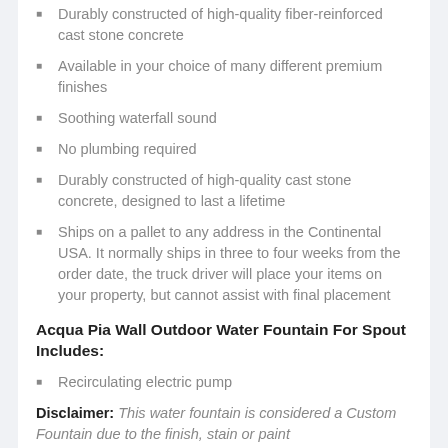Durably constructed of high-quality fiber-reinforced cast stone concrete
Available in your choice of many different premium finishes
Soothing waterfall sound
No plumbing required
Durably constructed of high-quality cast stone concrete, designed to last a lifetime
Ships on a pallet to any address in the Continental USA. It normally ships in three to four weeks from the order date, the truck driver will place your items on your property, but cannot assist with final placement
Acqua Pia Wall Outdoor Water Fountain For Spout Includes:
Recirculating electric pump
Disclaimer: This water fountain is considered a Custom Fountain due to the finish, stain or paint